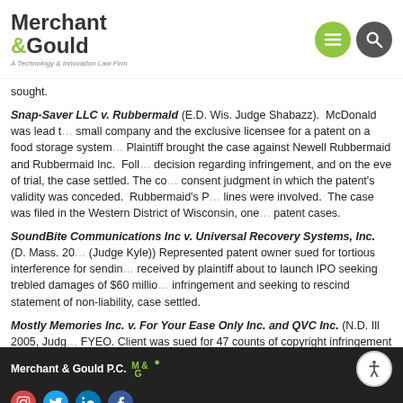Merchant & Gould — A Technology & Innovation Law Firm
sought.
Snap-Saver LLC v. Rubbermaid (E.D. Wis. Judge Shabazz). McDonald was lead trial counsel representing a small company and the exclusive licensee for a patent on a food storage system. Plaintiff brought the case against Newell Rubbermaid and Rubbermaid Inc. Following a favorable decision regarding infringement, and on the eve of trial, the case settled. The consent judgment in which the patent's validity was conceded. Rubbermald's P lines were involved. The case was filed in the Western District of Wisconsin, one patent cases.
SoundBite Communications Inc v. Universal Recovery Systems, Inc. (D. Mass. 20 (Judge Kyle)) Represented patent owner sued for tortious interference for sending received by plaintiff about to launch IPO seeking trebled damages of $60 million infringement and seeking to rescind statement of non-liability, case settled.
Mostly Memories Inc. v. For Your Ease Only Inc. and QVC Inc. (N.D. Ill 2005, Judge FYEO. Client was sued for 47 counts of copyright infringement and several related deposition of plaintiffs' president, the president recanted several allegations of t under oath. Plaintiffs' counsel stopped the deposition and promptly moved to vo
Merchant & Gould P.C.